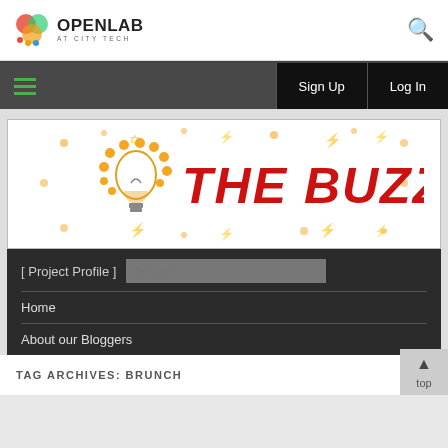OpenLab at City Tech
[Figure (logo): OpenLab at City Tech logo with colorful icon and text]
Sign Up  Log In
[Figure (illustration): The Buzz blog banner with lightbulb logo and red distressed text THE BUZZ on white background with decorative lightning bolt and dot pattern]
[ Project Profile ]
Home
About our Bloggers
TAG ARCHIVES: BRUNCH